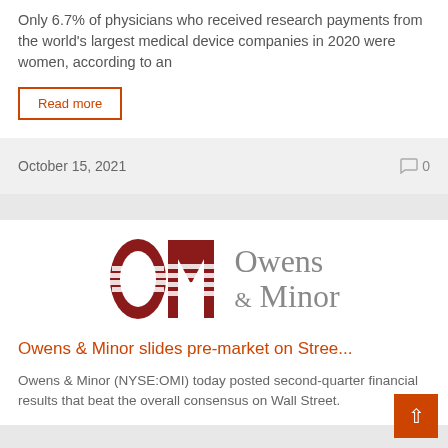Only 6.7% of physicians who received research payments from the world's largest medical device companies in 2020 were women, according to an
Read more
October 15, 2021   💬 0
[Figure (logo): Owens & Minor company logo with dark red OM letters with horizontal stripe pattern and gray 'Owens & Minor' text]
Owens & Minor slides pre-market on Stree...
Owens & Minor (NYSE:OMI) today posted second-quarter financial results that beat the overall consensus on Wall Street.